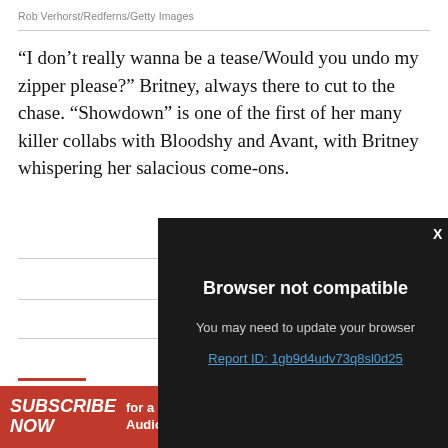Rob Verhorst/Redferns/Getty Images
“I don’t really wanna be a tease/Would you undo my zipper please?” Britney, always there to cut to the chase. “Showdown” is one of the first of her many killer collabs with Bloodshy and Avant, with Britney whispering her salacious come-ons.
[Figure (screenshot): Browser not compatible modal overlay on dark background with text: 'Browser not compatible', 'You may need to update your browser', 'Report ID: 1gb9d4udv73q8sl0d25']
SUBSCRIBE NOW for a chance to WIN 1 of 2 Audio Technica turntables VALUED AT $329